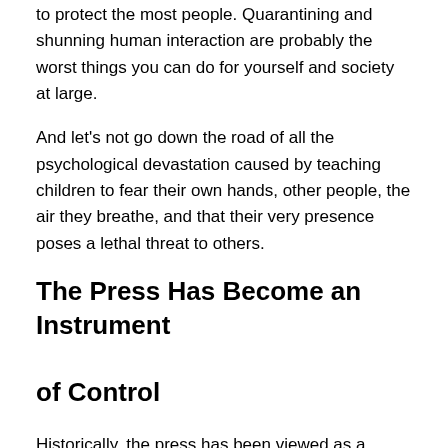to protect the most people. Quarantining and shunning human interaction are probably the worst things you can do for yourself and society at large.
And let's not go down the road of all the psychological devastation caused by teaching children to fear their own hands, other people, the air they breathe, and that their very presence poses a lethal threat to others.
The Press Has Become an Instrument of Control
Historically, the press has been viewed as a crucial instrument for a well-informed public, and thus supportive of a free and democratically-run society. Indeed, this is why journalists and news outlets were known as "the